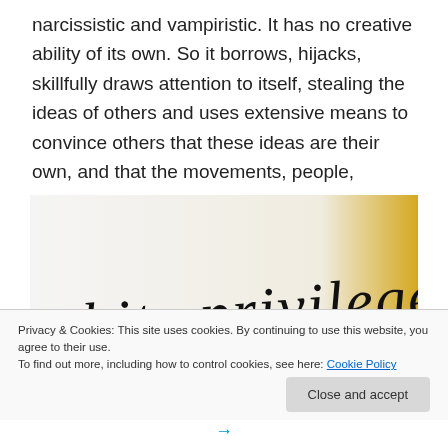narcissistic and vampiristic. It has no creative ability of its own. So it borrows, hijacks, skillfully draws attention to itself, stealing the ideas of others and uses extensive means to convince others that these ideas are their own, and that the movements, people, energies it copies are in fact the fakes or not trustworthy.
[Figure (photo): Photo of handwritten text on white surface reading 'white privilege' in black cursive script, with gold/yellow background visible in upper right corner.]
Privacy & Cookies: This site uses cookies. By continuing to use this website, you agree to their use.
To find out more, including how to control cookies, see here: Cookie Policy